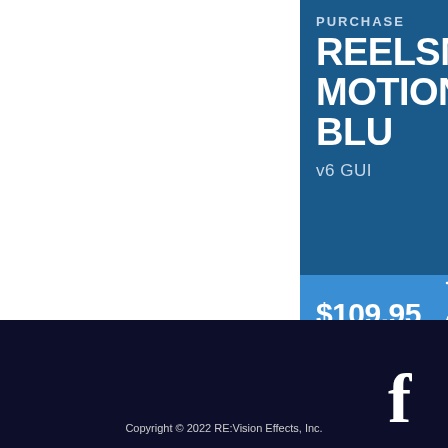PURCHASE
REELSMART MOTION BLUR
v6 GUI
$109.95
ADD TO CART
1
[Figure (logo): Facebook icon (f) in white on dark navy background]
Copyright © 2022 RE:Vision Effects, Inc.